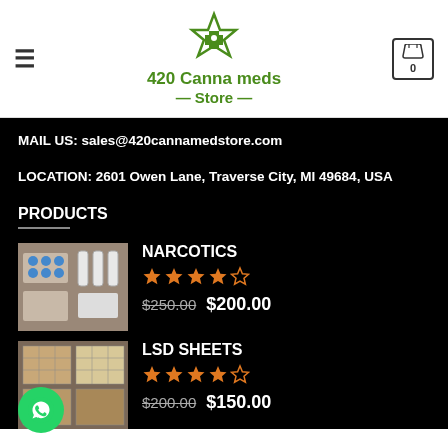420 Canna meds Store
MAIL US: sales@420cannamedstore.com
LOCATION: 2601 Owen Lane, Traverse City, MI 49684, USA
PRODUCTS
NARCOTICS
★★★★☆
$250.00  $200.00
LSD SHEETS
★★★★☆
$200.00  $150.00